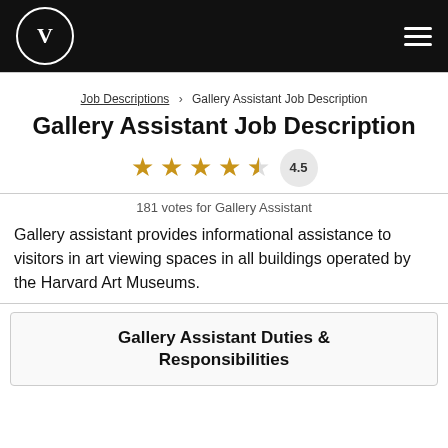V  ☰
Job Descriptions > Gallery Assistant Job Description
Gallery Assistant Job Description
[Figure (other): 4.5 star rating with 5 stars shown (4 full, 1 half) and rating badge showing 4.5]
181 votes for Gallery Assistant
Gallery assistant provides informational assistance to visitors in art viewing spaces in all buildings operated by the Harvard Art Museums.
Gallery Assistant Duties & Responsibilities